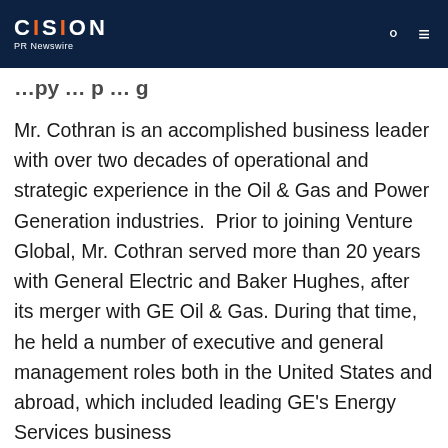CISION PR Newswire
…py … p … g…
Mr. Cothran is an accomplished business leader with over two decades of operational and strategic experience in the Oil & Gas and Power Generation industries.  Prior to joining Venture Global, Mr. Cothran served more than 20 years with General Electric and Baker Hughes, after its merger with GE Oil & Gas. During that time, he held a number of executive and general management roles both in the United States and abroad, which included leading GE's Energy Services business